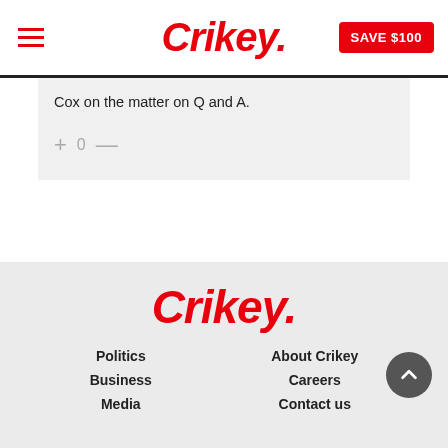Crikey. SAVE $100
Cox on the matter on Q and A.
+ 0 —
Crikey. Politics Business Media About Crikey Careers Contact us